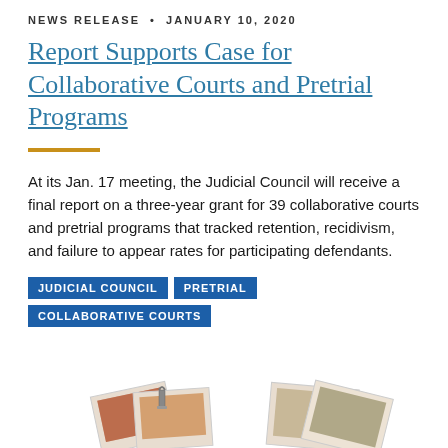NEWS RELEASE  •  JANUARY 10, 2020
Report Supports Case for Collaborative Courts and Pretrial Programs
At its Jan. 17 meeting, the Judicial Council will receive a final report on a three-year grant for 39 collaborative courts and pretrial programs that tracked retention, recidivism, and failure to appear rates for participating defendants.
JUDICIAL COUNCIL
PRETRIAL
COLLABORATIVE COURTS
[Figure (photo): Partial view of scattered Polaroid-style photographs with a binder clip, shown at the bottom of the page]